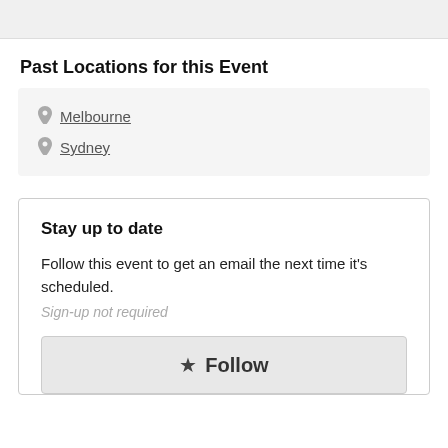[Figure (screenshot): Top gray bar, partial UI element from above the fold]
Past Locations for this Event
Melbourne
Sydney
Stay up to date
Follow this event to get an email the next time it's scheduled.
Sign-up not required
★ Follow